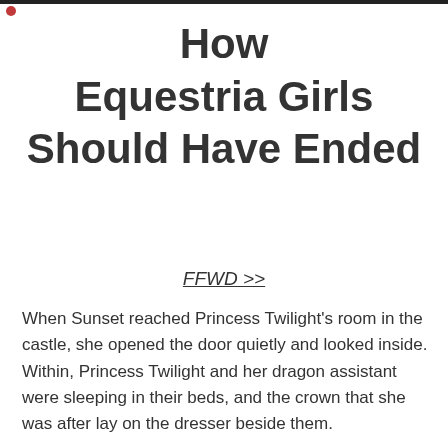How Equestria Girls Should Have Ended
FFWD >>
When Sunset reached Princess Twilight's room in the castle, she opened the door quietly and looked inside. Within, Princess Twilight and her dragon assistant were sleeping in their beds, and the crown that she was after lay on the dresser beside them.
Knowing that she had to remain quiet so that she wouldn't be detected, she simply lit up her horn and